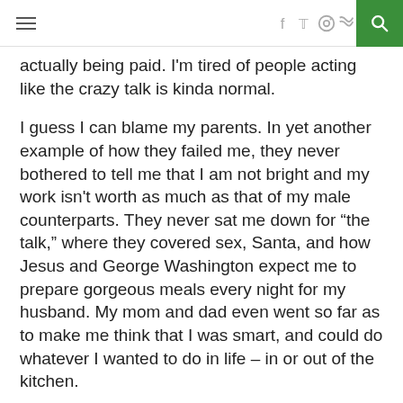[navigation bar with hamburger menu, social icons, and search]
actually being paid. I'm tired of people acting like the crazy talk is kinda normal.
I guess I can blame my parents. In yet another example of how they failed me, they never bothered to tell me that I am not bright and my work isn't worth as much as that of my male counterparts. They never sat me down for “the talk,” where they covered sex, Santa, and how Jesus and George Washington expect me to prepare gorgeous meals every night for my husband. My mom and dad even went so far as to make me think that I was smart, and could do whatever I wanted to do in life – in or out of the kitchen.
I know, I know.